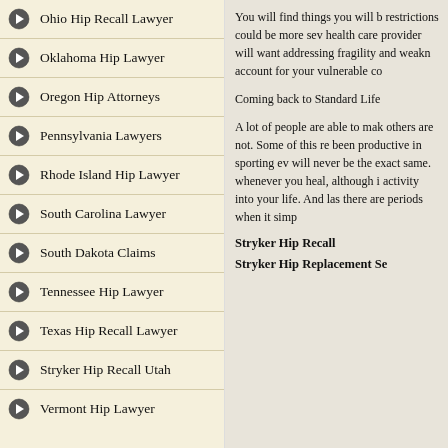Ohio Hip Recall Lawyer
Oklahoma Hip Lawyer
Oregon Hip Attorneys
Pennsylvania Lawyers
Rhode Island Hip Lawyer
South Carolina Lawyer
South Dakota Claims
Tennessee Hip Lawyer
Texas Hip Recall Lawyer
Stryker Hip Recall Utah
Vermont Hip Lawyer
You will find things you will be... restrictions could be more sev... health care provider will want... addressing fragility and weakn... account for your vulnerable co...
Coming back to Standard Life...
A lot of people are able to mak... others are not. Some of this re... been productive in sporting ev... will never be the exact same. ... whenever you heal, although i... activity into your life. And las... there are periods when it simp...
Stryker Hip Recall
Stryker Hip Replacement Se...